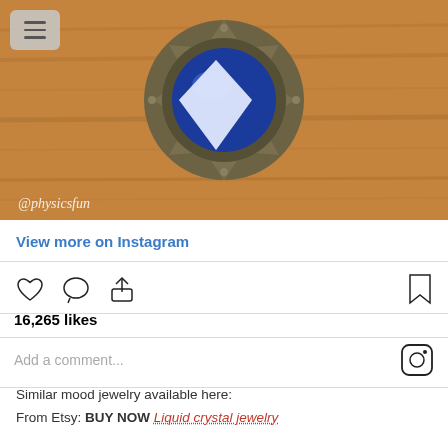[Figure (photo): A decorative metal badge/brooch with an ornate antique silver octagonal frame and a bright blue and white center, placed on a wooden surface. Watermark '@physicsfun' visible at bottom left. A hamburger menu icon is visible in the top left corner.]
View more on Instagram
16,265 likes
Add a comment...
Similar mood jewelry available here:
From Etsy: BUY NOW Liquid crystal jewelry